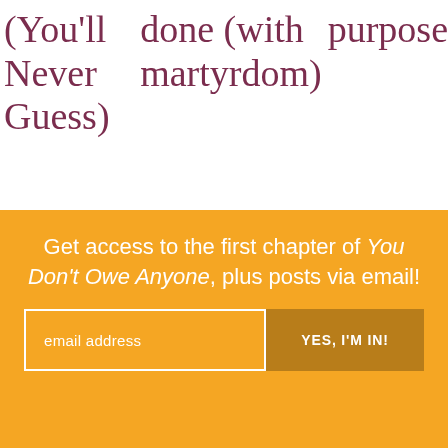(You'll Never Guess)   done (with martyrdom)   purpose
Get access to the first chapter of You Don't Owe Anyone, plus posts via email!
[Figure (other): Email signup form with text input labeled 'email address' and a button labeled 'YES, I'M IN!']